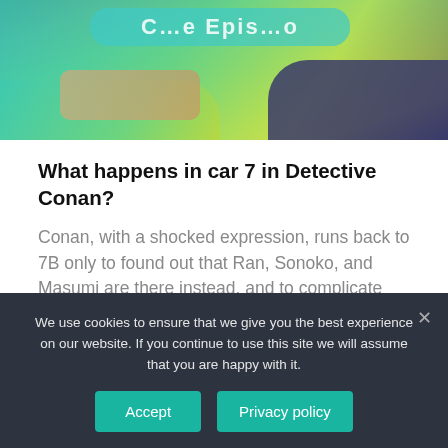[Figure (illustration): Partial anime-style illustration with colorful green, teal, yellow-green gradient shapes against a dark blue background, with partial text visible at top.]
What happens in car 7 in Detective Conan?
Conan, with a shocked expression, runs back to 7B only to found out that Ran, Sonoko, and Masumi are there instead, and to complicate thing further, Ran's group tell them they're in 8B. It seems that after the murder happened, Car 7 disappear into thin air.
We use cookies to ensure that we give you the best experience on our website. If you continue to use this site we will assume that you are happy with it.